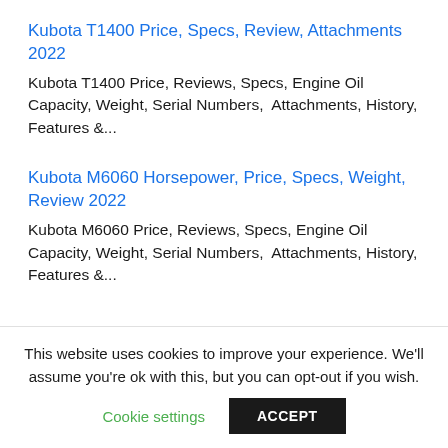Kubota T1400 Price, Specs, Review, Attachments 2022
Kubota T1400 Price, Reviews, Specs, Engine Oil Capacity, Weight, Serial Numbers,  Attachments, History, Features &...
Kubota M6060 Horsepower, Price, Specs, Weight, Review 2022
Kubota M6060 Price, Reviews, Specs, Engine Oil Capacity, Weight, Serial Numbers,  Attachments, History, Features &...
This website uses cookies to improve your experience. We'll assume you're ok with this, but you can opt-out if you wish.
Cookie settings   ACCEPT